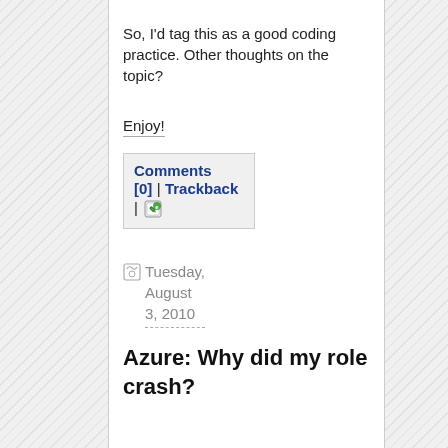So, I'd tag this as a good coding practice. Other thoughts on the topic?
Enjoy!
Comments [0] | Trackback |
Tuesday, August 3, 2010
Azure: Why did my role crash?